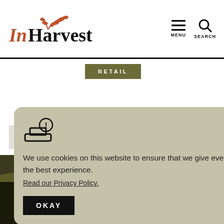InHarvest
RETAIL
PRODUCTS
ALLY SOURCED
ALTY GRAINS
We use cookies on this website to ensure that we give everyone the best experience.
Read our Privacy Policy.
OKAY
[Figure (illustration): Wheat/grain icon - white on dark olive background]
GROWN ON FARMS AROUND THE WORLD AND RIGHT AT HOME, OUR WHOLE GRAINS GIVE YOUR SHOPPERS THE TASTE AND NUTRITION THEY ARE LOOKING FOR.